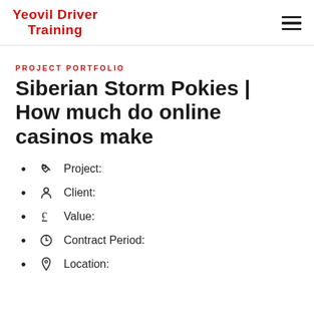Yeovil Driver Training
PROJECT PORTFOLIO
Siberian Storm Pokies | How much do online casinos make
Project:
Client:
Value:
Contract Period:
Location: